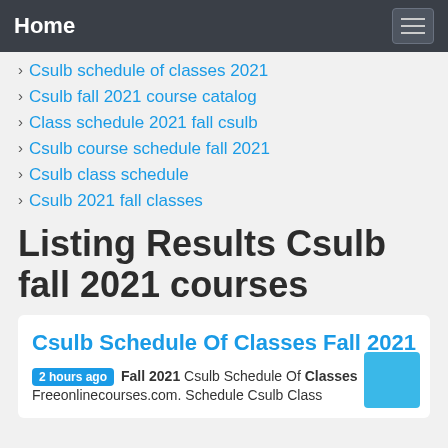Home
Csulb schedule of classes 2021
Csulb fall 2021 course catalog
Class schedule 2021 fall csulb
Csulb course schedule fall 2021
Csulb class schedule
Csulb 2021 fall classes
Listing Results Csulb fall 2021 courses
Csulb Schedule Of Classes Fall 2021
2 hours ago Fall 2021 Csulb Schedule Of Classes Freeonlinecourses.com. Schedule Csulb Class